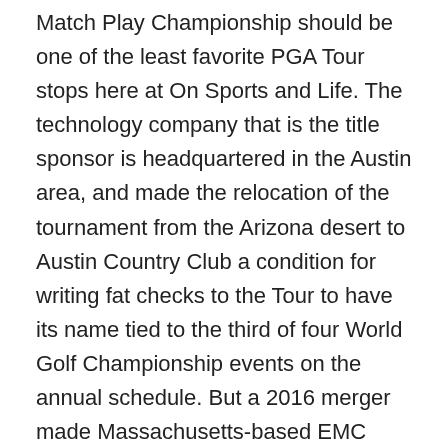Match Play Championship should be one of the least favorite PGA Tour stops here at On Sports and Life. The technology company that is the title sponsor is headquartered in the Austin area, and made the relocation of the tournament from the Arizona desert to Austin Country Club a condition for writing fat checks to the Tour to have its name tied to the third of four World Golf Championship events on the annual schedule. But a 2016 merger made Massachusetts-based EMC Corporation part of the Dell family shortly after EMC had signed on as chief sponsor of the Tour's FedEx Cup playoff event hosted at TPC Boston every Labor Day weekend. With Dell committed to its hometown tournament the company sought relief from its newly acquired second sponsorship, making the New England stop the obvious casualty when the Tour looked to reduce the playoffs from four events to